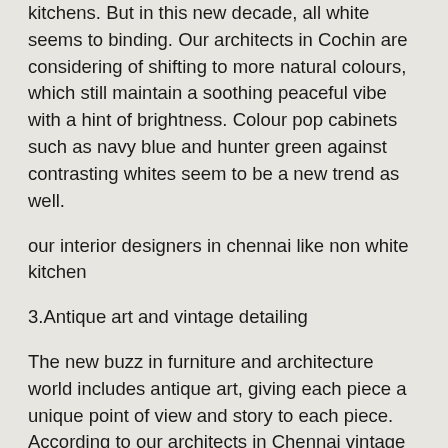kitchens. But in this new decade, all white seems to binding. Our architects in Cochin are considering of shifting to more natural colours, which still maintain a soothing peaceful vibe with a hint of brightness. Colour pop cabinets such as navy blue and hunter green against contrasting whites seem to be a new trend as well.
our interior designers in chennai like non white kitchen
3.Antique art and vintage detailing
The new buzz in furniture and architecture world includes antique art, giving each piece a unique point of view and story to each piece. According to our architects in Chennai vintage designing and detailing from the 1800s and 1900s in appropriation is also coming back in the current year.